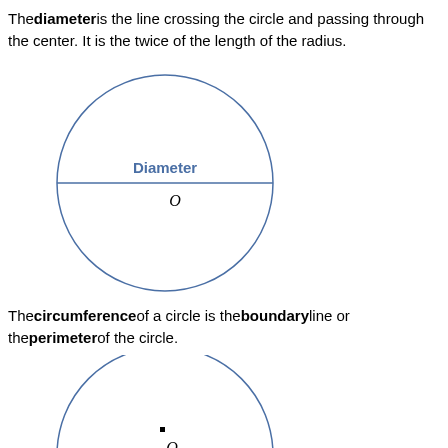The diameter is the line crossing the circle and passing through the center. It is the twice of the length of the radius.
[Figure (illustration): A circle with a horizontal diameter line drawn through the center. The label 'Diameter' appears in blue bold above the center line, and 'O' in italic appears below the center line, indicating the center point.]
The circumference of a circle is the boundary line or the perimeter of the circle.
[Figure (illustration): A circle with a small square dot at the center and 'O' in italic below it, indicating the center point. The circle boundary represents the circumference.]